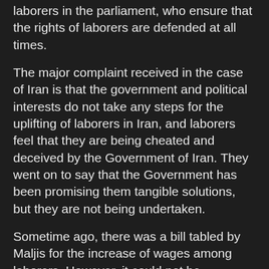laborers in the parliament, who ensure that the rights of laborers are defended at all times.
The major complaint received in the case of Iran is that the government and political interests do not take any steps for the uplifting of laborers in Iran, and laborers feel that they are being cheated and deceived by the Government of Iran. They went on to say that the Government has been promising them tangible solutions, but they are not being undertaken.
Sometime ago, there was a bill tabled by Maljis for the increase of wages among laborers. However, it could not be implemented as there was no work being done by the government towards the proposal made. This is disappointing, as the stipend and wages that are being provided to laborers are shockingly low and with such high inflation levels in the country, they are unable to manage their